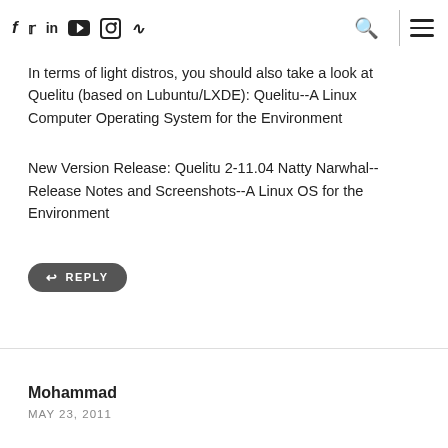Social icons: f, Twitter, in, YouTube, Instagram, RSS | Search | Menu
In terms of light distros, you should also take a look at Quelitu (based on Lubuntu/LXDE): Quelitu--A Linux Computer Operating System for the Environment
New Version Release: Quelitu 2-11.04 Natty Narwhal--Release Notes and Screenshots--A Linux OS for the Environment
REPLY
Mohammad
MAY 23, 2011